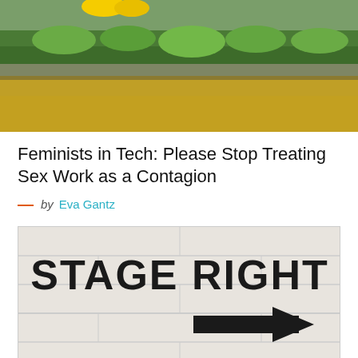[Figure (photo): Aerial or landscape photo showing colorful terrain with green trees, yellow and orange ground, and a small yellow object in upper left corner]
Feminists in Tech: Please Stop Treating Sex Work as a Contagion
— by Eva Gantz
[Figure (photo): Photo of a white cinder block wall painted with black text reading 'STAGE RIGHT' and 'STAGE LEFT' with a black arrow pointing right in the middle]